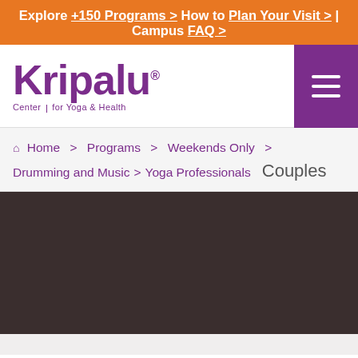Explore +150 Programs > How to Plan Your Visit > | Campus FAQ >
[Figure (logo): Kripalu Center for Yoga & Health logo with purple wordmark]
Home > Programs > Weekends Only > Drumming and Music > Yoga Professionals  Couples